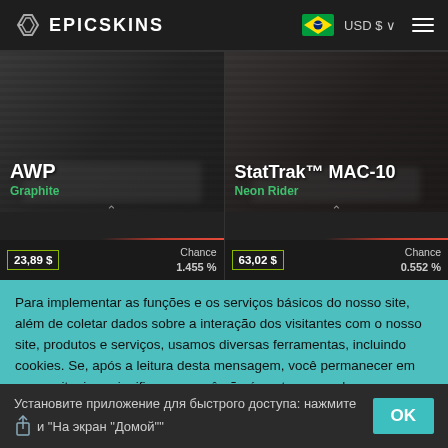[Figure (screenshot): EpicSkins website header with logo, Brazilian flag, USD currency selector, and hamburger menu]
[Figure (screenshot): AWP Graphite weapon card showing price 23,89 $ and Chance 1.455%]
[Figure (screenshot): StatTrak MAC-10 Neon Rider weapon card showing price 63,02 $ and Chance 0.552%]
Para implementar as funções e os serviços básicos do nosso site, além de coletar dados sobre a interação dos visitantes com o nosso site, produtos e serviços, usamos diversas ferramentas, incluindo cookies. Se, após a leitura desta mensagem, você permanecer em nosso site, isso significa que você não é contra o uso dessas tecnologias.
Установите приложение для быстрого доступа: нажмите и "На экран "Домой""